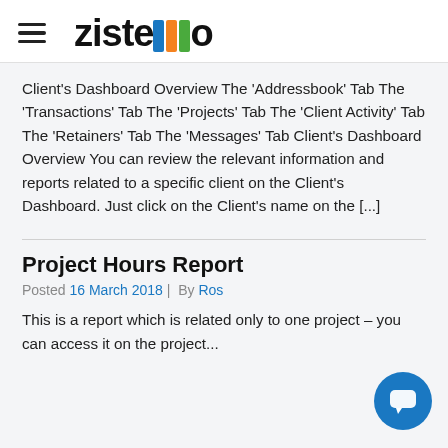zistemo
Client's Dashboard Overview The 'Addressbook' Tab The 'Transactions' Tab The 'Projects' Tab The 'Client Activity' Tab The 'Retainers' Tab The 'Messages' Tab Client's Dashboard Overview You can review the relevant information and reports related to a specific client on the Client's Dashboard. Just click on the Client's name on the [...]
Project Hours Report
Posted 16 March 2018 | By Ros
This is a report which is related only to one project – you can access it on the project...